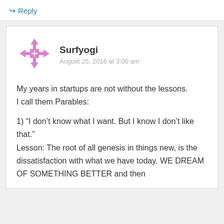↳ Reply
[Figure (logo): Pink/magenta avatar icon with a grid/window symbol and arrows pointing outward]
Surfyogi
August 25, 2016 at 3:00 am
My years in startups are not without the lessons.
I call them Parables:
1) “I don’t know what I want. But I know I don’t like that.”
Lesson: The root of all genesis in things new, is the dissatisfaction with what we have today. WE DREAM OF SOMETHING BETTER and then